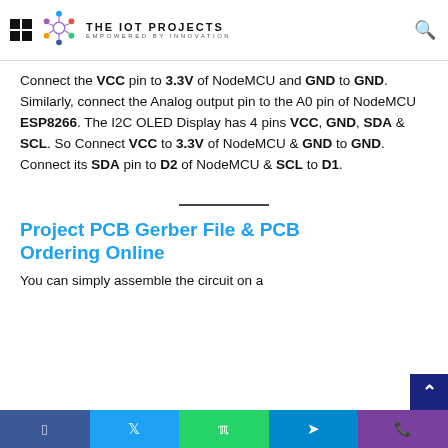THE IOT PROJECTS — EMPOWERED BY INNOVATION
Connect the VCC pin to 3.3V of NodeMCU and GND to GND. Similarly, connect the Analog output pin to the A0 pin of NodeMCU ESP8266. The I2C OLED Display has 4 pins VCC, GND, SDA & SCL. So Connect VCC to 3.3V of NodeMCU & GND to GND. Connect its SDA pin to D2 of NodeMCU & SCL to D1.
Project PCB Gerber File & PCB Ordering Online
You can simply assemble the circuit on a
Facebook Twitter WhatsApp Telegram Phone